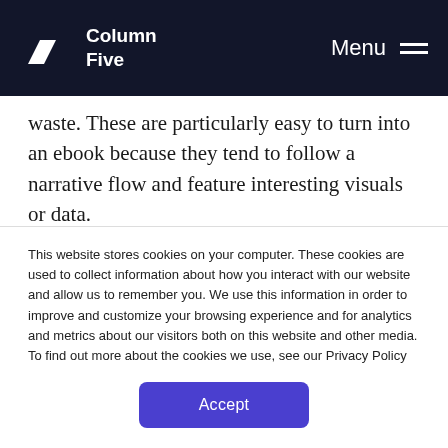Column Five | Menu
waste. These are particularly easy to turn into an ebook because they tend to follow a narrative flow and feature interesting visuals or data.
Example: We collaborated with Sharethrough to create an interactive ebook that walks you through the science behind native ads. This was a
This website stores cookies on your computer. These cookies are used to collect information about how you interact with our website and allow us to remember you. We use this information in order to improve and customize your browsing experience and for analytics and metrics about our visitors both on this website and other media. To find out more about the cookies we use, see our Privacy Policy
Accept